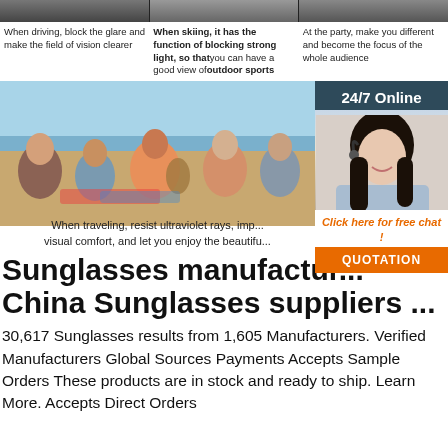[Figure (photo): Top strip of three product/activity photos (driving, skiing, party) partially visible at top of page]
When driving, block the glare and make the field of vision clearer
When skiing, it has the function of blocking strong light, so that you can have a good view of outdoor sports
At the party, make you different and become the focus of the whole audience
[Figure (photo): Group of young people sitting on a beach, one playing guitar, enjoying drinks]
[Figure (photo): 24/7 Online chat support panel with woman wearing headset]
When traveling, resist ultraviolet rays, improve visual comfort, and let you enjoy the beautiful...
Sunglasses manufacturers ... China Sunglasses suppliers ...
30,617 Sunglasses results from 1,605 Manufacturers. Verified Manufacturers Global Sources Payments Accepts Sample Orders These products are in stock and ready to ship. Learn More. Accepts Direct Orders